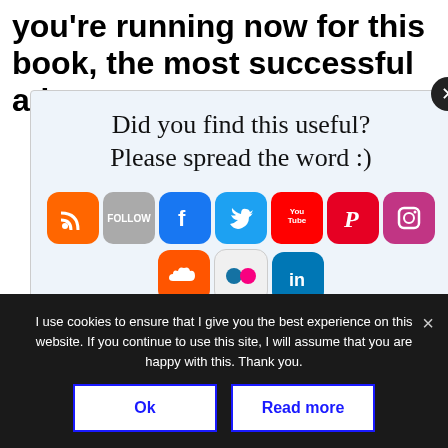you're running now for this book, the most successful ads
[Figure (infographic): Social sharing overlay with 'Did you find this useful? Please spread the word :)' and social media icons: RSS, Follow, Facebook, Twitter, YouTube, Pinterest, Instagram, SoundCloud, Flickr, LinkedIn. Close button (X) in top right corner.]
wri... [blurred text] ...y g... [blurred text]
it. And I wasn't sure how it was ending and it sat
I use cookies to ensure that I give you the best experience on this website. If you continue to use this site, I will assume that you are happy with this. Thank you.
Ok
Read more